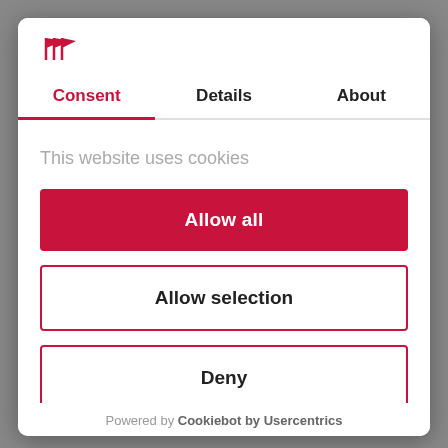[Figure (logo): Three red flag/pennant icons representing a logo]
Consent | Details | About
This website uses cookies
Allow all
Allow selection
Deny
Powered by Cookiebot by Usercentrics